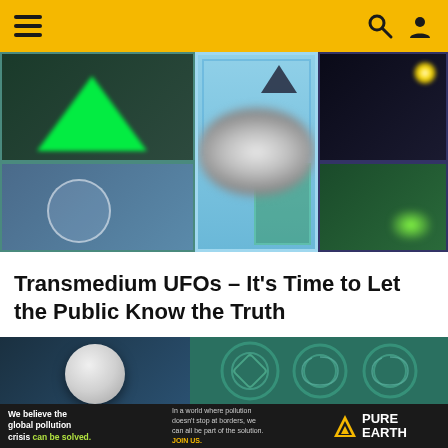Navigation header with menu, search, and user icons
[Figure (photo): Collage of UFO images including green triangle UFO, blurry white object on blue background, dark triangular craft, circular ghost-like object, and bright light in night sky]
Transmedium UFOs – It's Time to Let the Public Know the Truth
[Figure (photo): Two images side by side: a white orb/sphere on metal mount against dark teal background, and ancient stone carvings with circular spiral and geometric patterns]
[Figure (infographic): Pure Earth advertisement banner: 'We believe the global pollution crisis can be solved.' with Pure Earth logo]